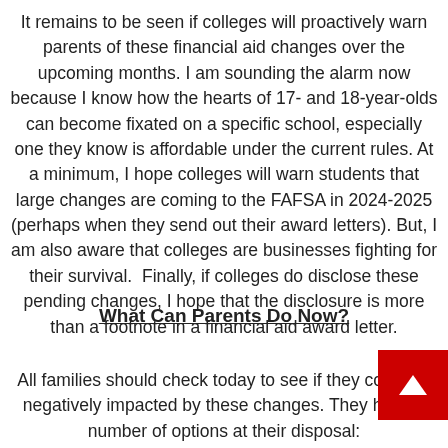It remains to be seen if colleges will proactively warn parents of these financial aid changes over the upcoming months. I am sounding the alarm now because I know how the hearts of 17- and 18-year-olds can become fixated on a specific school, especially one they know is affordable under the current rules. At a minimum, I hope colleges will warn students that large changes are coming to the FAFSA in 2024-2025 (perhaps when they send out their award letters). But, I am also aware that colleges are businesses fighting for their survival.  Finally, if colleges do disclose these pending changes, I hope that the disclosure is more than a footnote in a financial aid award letter.
What Can Parents Do Now?
All families should check today to see if they could be negatively impacted by these changes. They have a number of options at their disposal: